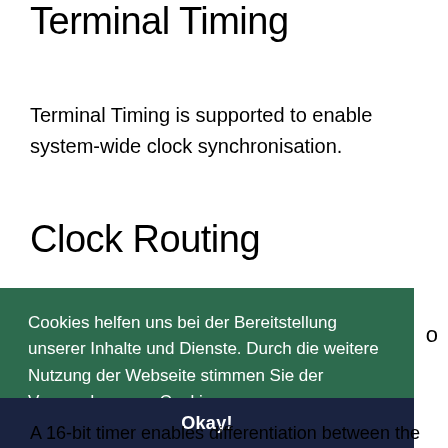Terminal Timing
Terminal Timing is supported to enable system-wide clock synchronisation.
Clock Routing
Cookies helfen uns bei der Bereitstellung unserer Inhalte und Dienste. Durch die weitere Nutzung der Webseite stimmen Sie der Verwendung von Cookies zu.
Mehr erfahren
Okay!
A 16-bit timer enables differentiation between the